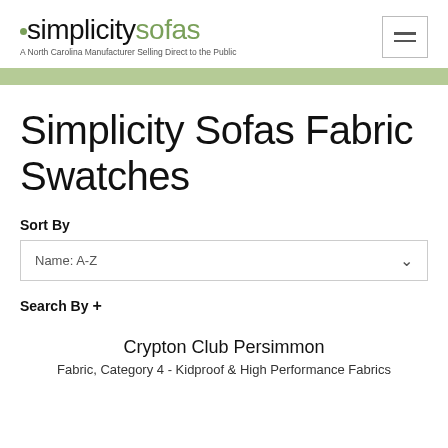simplicitysofas — A North Carolina Manufacturer Selling Direct to the Public
Simplicity Sofas Fabric Swatches
Sort By
Name: A-Z
Search By +
Crypton Club Persimmon
Fabric, Category 4 - Kidproof & High Performance Fabrics